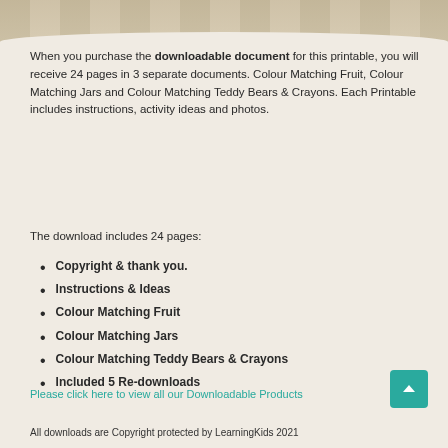[Figure (photo): Top portion of a photo showing colour matching activity materials on a brown/tan background, partially cropped at the top of the page]
When you purchase the downloadable document for this printable, you will receive 24 pages in 3 separate documents. Colour Matching Fruit, Colour Matching Jars and Colour Matching Teddy Bears & Crayons. Each Printable includes instructions, activity ideas and photos.
The download includes 24 pages:
Copyright & thank you.
Instructions & Ideas
Colour Matching Fruit
Colour Matching Jars
Colour Matching Teddy Bears & Crayons
Included 5 Re-downloads
Please click here to view all our Downloadable Products
All downloads are Copyright protected by LearningKids 2021